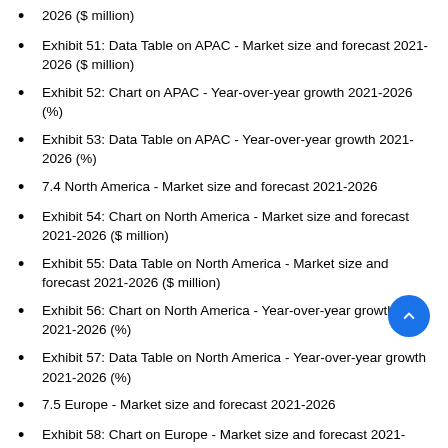2026 ($ million)
Exhibit 51: Data Table on APAC - Market size and forecast 2021-2026 ($ million)
Exhibit 52: Chart on APAC - Year-over-year growth 2021-2026 (%)
Exhibit 53: Data Table on APAC - Year-over-year growth 2021-2026 (%)
7.4 North America - Market size and forecast 2021-2026
Exhibit 54: Chart on North America - Market size and forecast 2021-2026 ($ million)
Exhibit 55: Data Table on North America - Market size and forecast 2021-2026 ($ million)
Exhibit 56: Chart on North America - Year-over-year growth 2021-2026 (%)
Exhibit 57: Data Table on North America - Year-over-year growth 2021-2026 (%)
7.5 Europe - Market size and forecast 2021-2026
Exhibit 58: Chart on Europe - Market size and forecast 2021-2026 ($ million)
Exhibit 59: Data Table on Europe - Market size and forecast